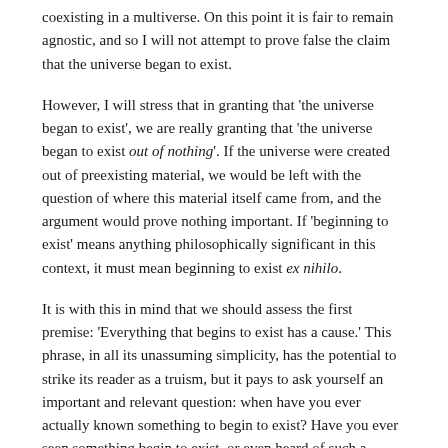coexisting in a multiverse. On this point it is fair to remain agnostic, and so I will not attempt to prove false the claim that the universe began to exist.
However, I will stress that in granting that 'the universe began to exist', we are really granting that 'the universe began to exist out of nothing'. If the universe were created out of preexisting material, we would be left with the question of where this material itself came from, and the argument would prove nothing important. If 'beginning to exist' means anything philosophically significant in this context, it must mean beginning to exist ex nihilo.
It is with this in mind that we should assess the first premise: 'Everything that begins to exist has a cause.' This phrase, in all its unassuming simplicity, has the potential to strike its reader as a truism, but it pays to ask yourself an important and relevant question: when have you ever actually known something to begin to exist? Have you ever seen something begin to exist, or even heard of such a thing? You may be inclined to answer that this happens all the time. Just this morning my coffee began to exist — only, it didn't really